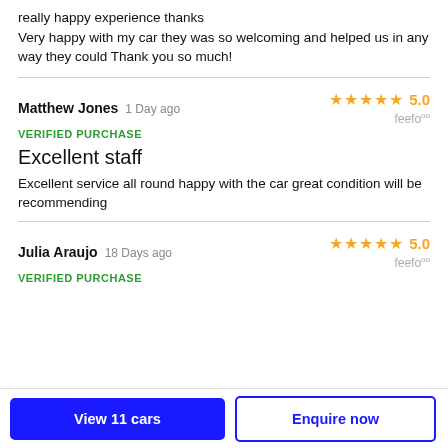really happy experience thanks Very happy with my car they was so welcoming and helped us in any way they could Thank you so much!
Matthew Jones  1 Day ago  VERIFIED PURCHASE  ★★★★★ 5.0  feefo
Excellent staff
Excellent service all round happy with the car great condition will be recommending
Julia Araujo  18 Days ago  VERIFIED PURCHASE  ★★★★★ 5.0  feefo